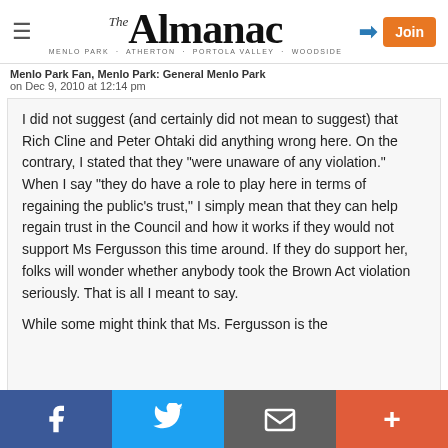The Almanac — Menlo Park · Atherton · Portola Valley · Woodside
Menlo Park Fan, Menlo Park: General Menlo Park
on Dec 9, 2010 at 12:14 pm
I did not suggest (and certainly did not mean to suggest) that Rich Cline and Peter Ohtaki did anything wrong here. On the contrary, I stated that they "were unaware of any violation." When I say "they do have a role to play here in terms of regaining the public's trust," I simply mean that they can help regain trust in the Council and how it works if they would not support Ms Fergusson this time around. If they do support her, folks will wonder whether anybody took the Brown Act violation seriously. That is all I meant to say.

While some might think that Ms. Fergusson is the
Facebook | Twitter | Email | More